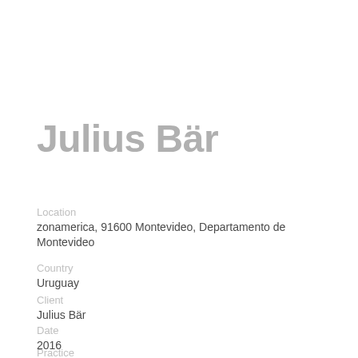Julius Bär
Location
zonamerica, 91600 Montevideo, Departamento de Montevideo
Country
Uruguay
Client
Julius Bär
Date
2016
Practice